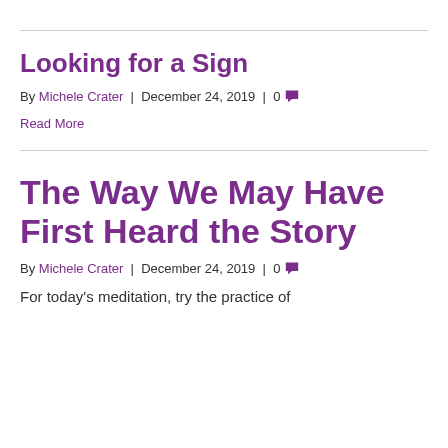Looking for a Sign
By Michele Crater | December 24, 2019 | 0 💬
Read More
The Way We May Have First Heard the Story
By Michele Crater | December 24, 2019 | 0 💬
For today's meditation, try the practice of